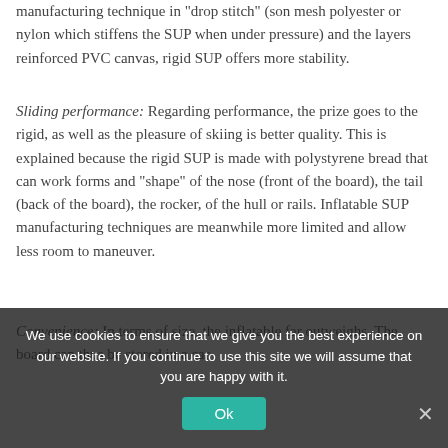manufacturing technique in "drop stitch" (son mesh polyester or nylon which stiffens the SUP when under pressure) and the layers reinforced PVC canvas, rigid SUP offers more stability.
Sliding performance: Regarding performance, the prize goes to the rigid, as well as the pleasure of skiing is better quality. This is explained because the rigid SUP is made with polystyrene bread that can work forms and "shape" of the nose (front of the board), the tail (back of the board), the rocker, of the hull or rails. Inflatable SUP manufacturing techniques are meanwhile more limited and allow less room to maneuver.
Convenience: In terms of size, the inflatable far outweighs. The board can thus be stored in a car trunk, unlike the rigid, which is one of the largest ...
... universal or common ...
Rules: You should know that in terms of regulations, the rigid up to 3 miles from the shelter, unlike at which ...
We use cookies to ensure that we give you the best experience on our website. If you continue to use this site we will assume that you are happy with it.